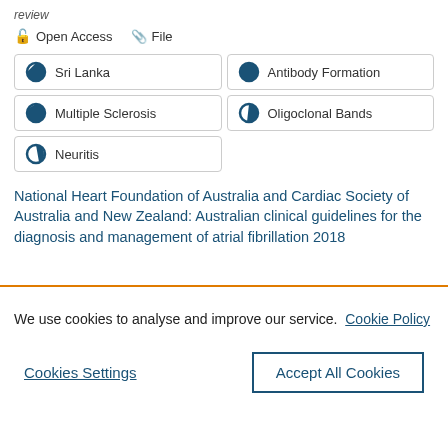review
Open Access   File
Sri Lanka
Antibody Formation
Multiple Sclerosis
Oligoclonal Bands
Neuritis
National Heart Foundation of Australia and Cardiac Society of Australia and New Zealand: Australian clinical guidelines for the diagnosis and management of atrial fibrillation 2018
We use cookies to analyse and improve our service. Cookie Policy
Cookies Settings
Accept All Cookies